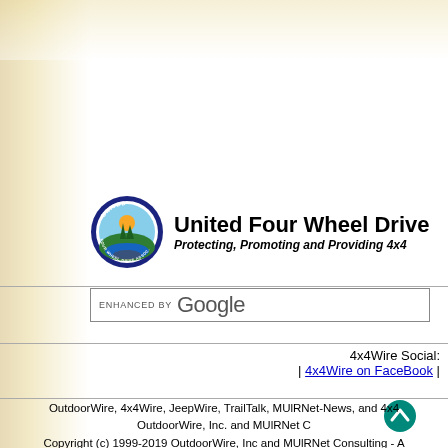[Figure (logo): United Four Wheel Drive Associations circular logo with mountain, sun, and water imagery]
United Four Wheel Drive Associations
Protecting, Promoting and Providing 4x4
[Figure (other): Enhanced by Google search bar]
4x4Wire Social: | 4x4Wire on FaceBook |
OutdoorWire, 4x4Wire, JeepWire, TrailTalk, MUlRNet-News, and 4x4 OutdoorWire, Inc. and MUlRNet C Copyright (c) 1999-2019 OutdoorWire, Inc and MUlRNet Consulting - A